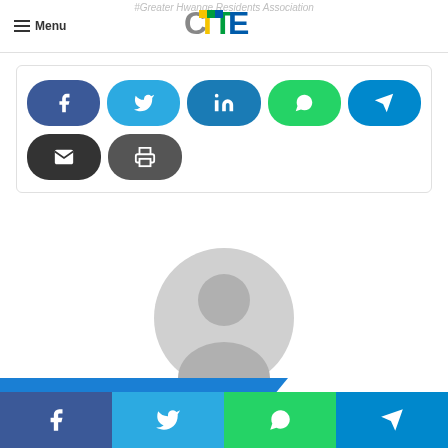#Greater Hwange Residents Association
[Figure (logo): CITE logo in page header]
Menu
[Figure (infographic): Social share buttons: Facebook, Twitter, LinkedIn, WhatsApp, Telegram, Email, Print]
[Figure (photo): Staff Reporter avatar placeholder (gray silhouette icon)]
Staff Reporter
Related Articles
[Figure (infographic): Bottom social share bar: Facebook, Twitter, WhatsApp, Telegram]